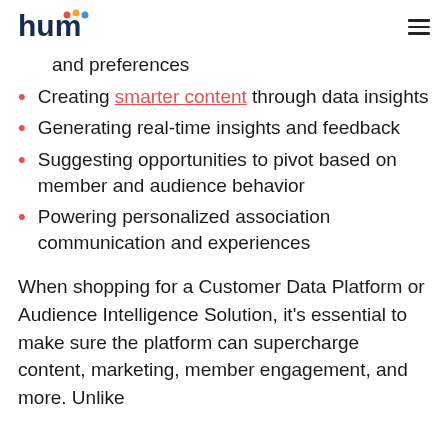hum
and preferences
Creating smarter content through data insights
Generating real-time insights and feedback
Suggesting opportunities to pivot based on member and audience behavior
Powering personalized association communication and experiences
When shopping for a Customer Data Platform or Audience Intelligence Solution, it's essential to make sure the platform can supercharge content, marketing, member engagement, and more. Unlike